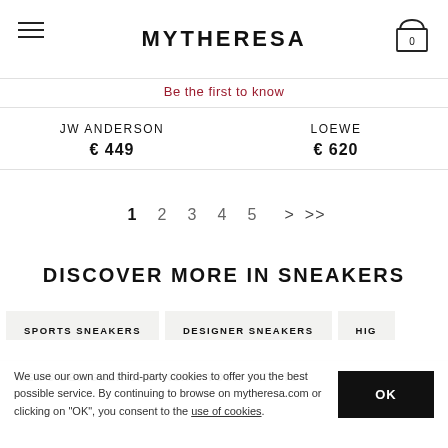MYTHERESA
Be the first to know
JW ANDERSON  € 449
LOEWE  € 620
1  2  3  4  5  >  >>
DISCOVER MORE IN SNEAKERS
SPORTS SNEAKERS
DESIGNER SNEAKERS
HIG
MEN'S DESIGNER SNEAKERS: YOUR PATH TO
We use our own and third-party cookies to offer you the best possible service. By continuing to browse on mytheresa.com or clicking on "OK", you consent to the use of cookies.